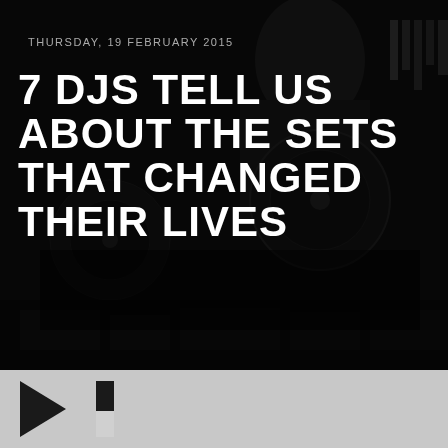[Figure (photo): Dark background photo of a DJ working with records/equipment, heavily darkened with overlay]
THURSDAY, 19 FEBRUARY 2015
7 DJS TELL US ABOUT THE SETS THAT CHANGED THEIR LIVES
[Figure (screenshot): Gray media player control bar with play button triangle and pause/stop bars at bottom of image]